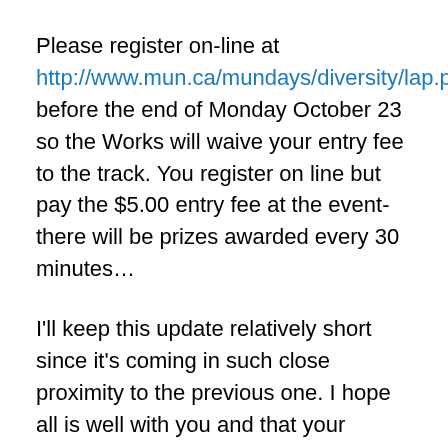Please register on-line at http://www.mun.ca/mundays/diversity/lap.php before the end of Monday October 23 so the Works will waive your entry fee to the track. You register on line but pay the $5.00 entry fee at the event-there will be prizes awarded every 30 minutes…
I'll keep this update relatively short since it's coming in such close proximity to the previous one. I hope all is well with you and that your Halloween costume is coming along fine.
TA
Hello from Frankfurt 10/18/2006
I promised an update from Switzerland but didn't quite pull one off. It's amazing how five days can fly by so quickly